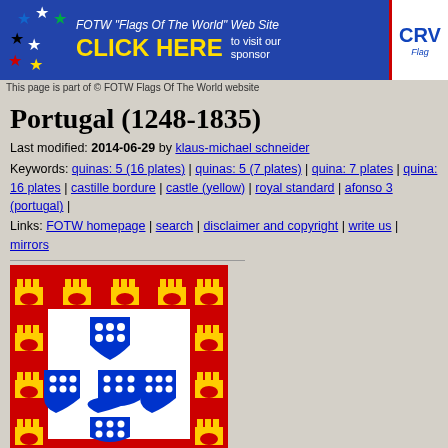[Figure (banner): FOTW Flags Of The World website banner with stars logo, CLICK HERE text, and CRV sponsor box]
This page is part of © FOTW Flags Of The World website
Portugal (1248-1835)
Last modified: 2014-06-29 by klaus-michael schneider
Keywords: quinas: 5 (16 plates) | quinas: 5 (7 plates) | quina: 7 plates | quina: 16 plates | castille bordure | castle (yellow) | royal standard | afonso 3 (portugal) |
Links: FOTW homepage | search | disclaimer and copyright | write us | mirrors
[Figure (illustration): Portuguese royal flag 1248-1835: red background with yellow castle bordure and central white square containing 5 blue shields with white dots arranged in cross pattern]